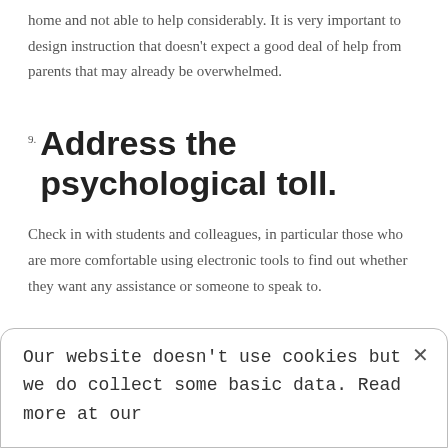home and not able to help considerably. It is very important to design instruction that doesn't expect a good deal of help from parents that may already be overwhelmed.
9. Address the psychological toll.
Check in with students and colleagues, in particular those who are more comfortable using electronic tools to find out whether they want any assistance or someone to speak to.
Our website doesn't use cookies but we do collect some basic data. Read more at our